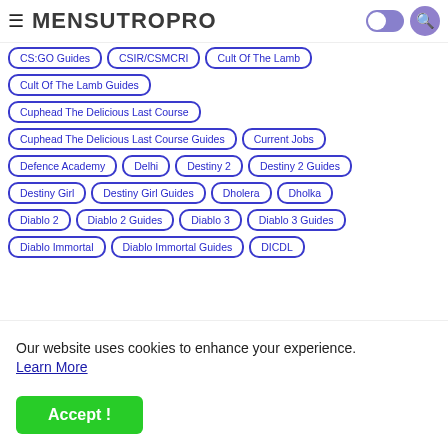≡ MENSUTROPRO
CS:GO Guides
CSIR/CSMCRI
Cult Of The Lamb
Cult Of The Lamb Guides
Cuphead The Delicious Last Course
Cuphead The Delicious Last Course Guides
Current Jobs
Defence Academy
Delhi
Destiny 2
Destiny 2 Guides
Destiny Girl
Destiny Girl Guides
Dholera
Dholka
Diablo 2
Diablo 2 Guides
Diablo 3
Diablo 3 Guides
Diablo Immortal
Diablo Immortal Guides
DICDL
Our website uses cookies to enhance your experience. Learn More
Accept !